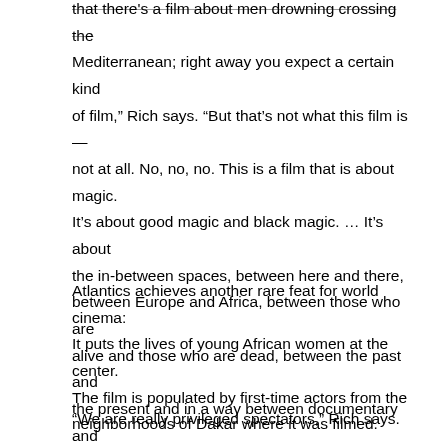that there's a film about men drowning crossing the Mediterranean; right away you expect a certain kind of film," Rich says. "But that's not what this film is — not at all. No, no, no. This is a film that is about magic. It's about good magic and black magic. ... It's about the in-between spaces, between here and there, between Europe and Africa, between those who are alive and those who are dead, between the past and the present and in a way between documentary and fiction."
Atlantics achieves another rare feat for world cinema: It puts the lives of young African women at the center. The film is populated by first-time actors from the neighborhoods of Dakar where it was filmed.
"We are really privileged spectators," Rich says.